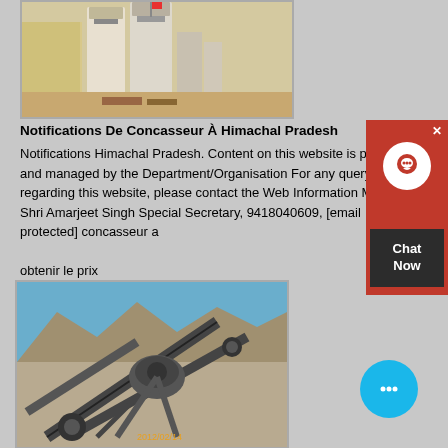[Figure (photo): Industrial concrete batching plant with silos and machinery in an outdoor setting]
Notifications De Concasseur À Himachal Pradesh
Notifications Himachal Pradesh. Content on this website is publ and managed by the Department/Organisation For any query regarding this website, please contact the Web Information Man Shri Amarjeet Singh Special Secretary, 9418040609, [email protected] concasseur a obtenir le prix
[Figure (photo): Large industrial crusher/screening equipment on a rocky hillside, dated 2012/02/14]